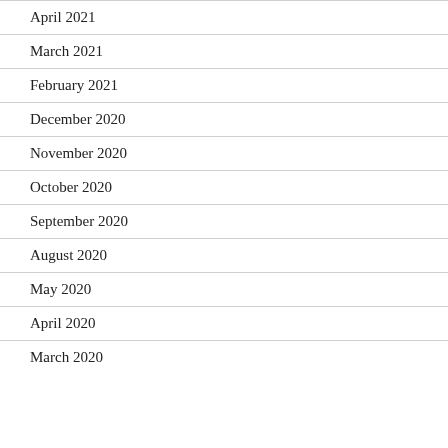April 2021
March 2021
February 2021
December 2020
November 2020
October 2020
September 2020
August 2020
May 2020
April 2020
March 2020